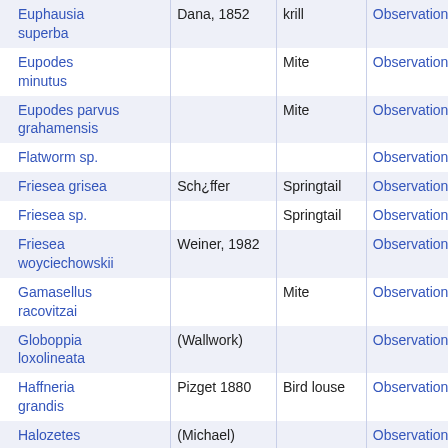| Species | Authority | Common name | Link |
| --- | --- | --- | --- |
| Euphausia superba | Dana, 1852 | krill | Observations |
| Eupodes minutus |  | Mite | Observations |
| Eupodes parvus grahamensis |  | Mite | Observations |
| Flatworm sp. |  |  | Observations |
| Friesea grisea | Sch¿ffer | Springtail | Observations |
| Friesea sp. |  | Springtail | Observations |
| Friesea woyciechowskii | Weiner, 1982 |  | Observations |
| Gamasellus racovitzai |  | Mite | Observations |
| Globoppia loxolineata | (Wallwork) |  | Observations |
| Haffneria grandis | Pizget 1880 | Bird louse | Observations |
| Halozetes belgicae | (Michael) |  | Observations |
| Halozetes marinus | (Lohmann) | Mite | Observations |
| Halozetes |  |  |  |